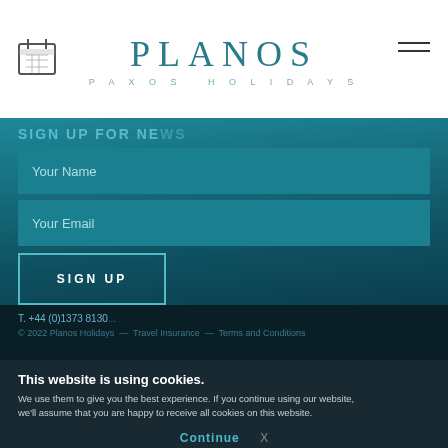PLANOS PAXOS HOLIDAYS
SIGN UP FOR NEWS
Your Name
Your Email
SIGN UP
NEED HELP?
If you have any questions or need assistance finding the perfect property, call us.
T. +44 (0)1373 8130... © 2022 Planos Holidays — Travel Insurance — Terms and Conditions
This website is using cookies. We use them to give you the best experience. If you continue using our website, we'll assume that you are happy to receive all cookies on this website.
Continue  X